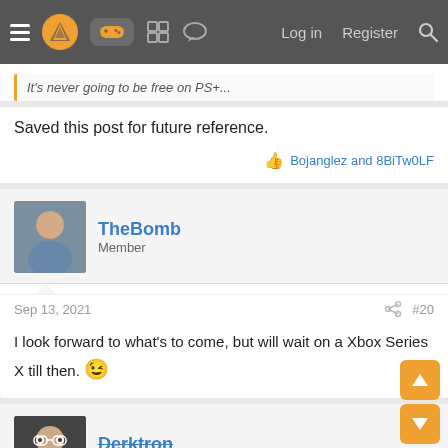≡ [logo] [gamepad icon] [grid icon] [chat icon]   Log in  Register  [search]
It's never going to be free on PS+...
Saved this post for future reference.
👍 Bojanglez and 8BiTw0LF
TheBomb
Member
Sep 13, 2021
#20
I look forward to what's to come, but will wait on a Xbox Series X till then. 😉
Derktron
Banned